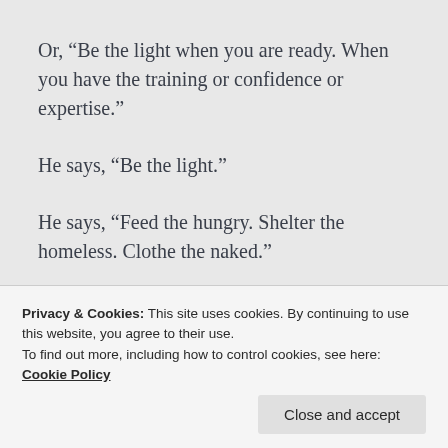Or, “Be the light when you are ready. When you have the training or confidence or expertise.”
He says, “Be the light.”
He says, “Feed the hungry. Shelter the homeless. Clothe the naked.”
He says, “Do not turn your back on your own.”
My friends, this weekend is not necessarily a feel good weekend.
Privacy & Cookies: This site uses cookies. By continuing to use this website, you agree to their use. To find out more, including how to control cookies, see here: Cookie Policy